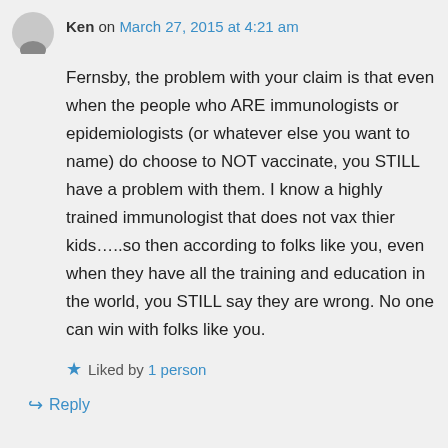Ken on March 27, 2015 at 4:21 am
Fernsby, the problem with your claim is that even when the people who ARE immunologists or epidemiologists (or whatever else you want to name) do choose to NOT vaccinate, you STILL have a problem with them. I know a highly trained immunologist that does not vax thier kids…..so then according to folks like you, even when they have all the training and education in the world, you STILL say they are wrong. No one can win with folks like you.
Liked by 1 person
Reply